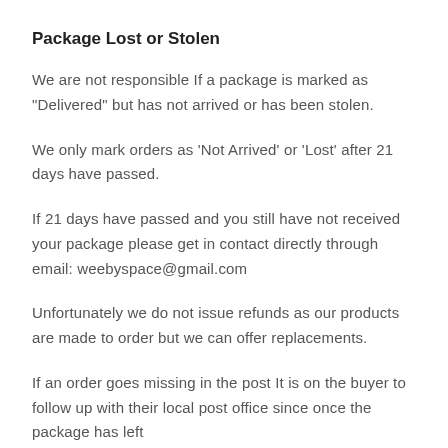Package Lost or Stolen
We are not responsible If a package is marked as "Delivered" but has not arrived or has been stolen.
We only mark orders as 'Not Arrived' or 'Lost' after 21 days have passed.
If 21 days have passed and you still have not received your package please get in contact directly through email: weebyspace@gmail.com
Unfortunately we do not issue refunds as our products are made to order but we can offer replacements.
If an order goes missing in the post It is on the buyer to follow up with their local post office since once the package has left